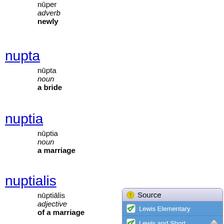nūper
adverb
newly
nupta
nūpta
noun
a bride
nuptia
nūptia
noun
a marriage
nuptialis
nūptiālis
adjective
of a marriage
nuptus
[Figure (screenshot): Source panel UI with title 'Source' and three checkmarked rows: Lewis Elementary, Lewis and Short, Latinitas Recens. Blue background rows with white checkboxes and house icons on the last two.]